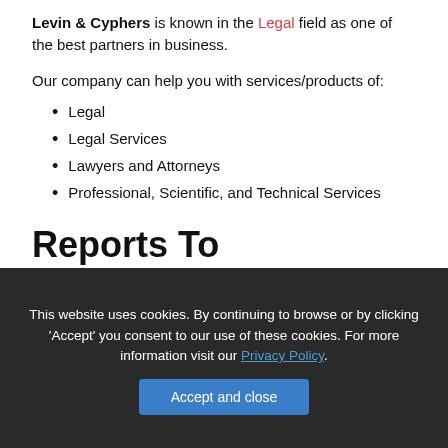Levin & Cyphers is known in the Legal field as one of the best partners in business.
Our company can help you with services/products of:
Legal
Legal Services
Lawyers and Attorneys
Professional, Scientific, and Technical Services
Reports To
This website uses cookies. By continuing to browse or by clicking 'Accept' you consent to our use of these cookies. For more information visit our Privacy Policy.
Accept and close